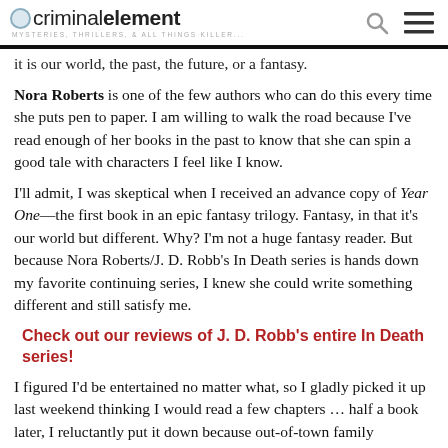criminalelement — MYSTERIES, THRILLERS, & ALL THINGS KILLER...
it is our world, the past, the future, or a fantasy.
Nora Roberts is one of the few authors who can do this every time she puts pen to paper. I am willing to walk the road because I've read enough of her books in the past to know that she can spin a good tale with characters I feel like I know.
I'll admit, I was skeptical when I received an advance copy of Year One—the first book in an epic fantasy trilogy. Fantasy, in that it's our world but different. Why? I'm not a huge fantasy reader. But because Nora Roberts/J. D. Robb's In Death series is hands down my favorite continuing series, I knew she could write something different and still satisfy me.
Check out our reviews of J. D. Robb's entire In Death series!
I figured I'd be entertained no matter what, so I gladly picked it up last weekend thinking I would read a few chapters … half a book later, I reluctantly put it down because out-of-town family